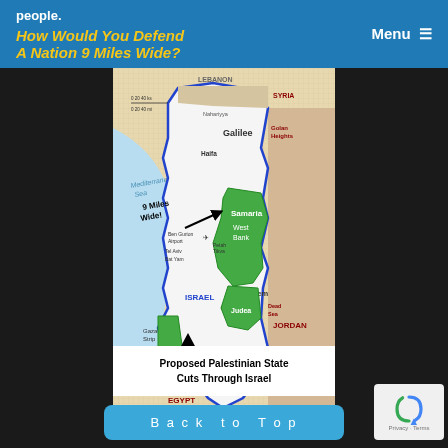people.
How Would You Defend A Nation 9 Miles Wide?
[Figure (map): Map of Israel and proposed Palestinian State. Shows Mediterranean Sea to the west, Lebanon and Syria to the north, Jordan to the east, Egypt to the south. Green shaded areas show West Bank (Samaria and Judea). Annotation reads '9 Miles Wide!' with arrow pointing to narrow strip near Tel Aviv/Ben Gurion Airport area. Labels include: Galilee, Golan Heights, Haifa, Nahariyya, Ben Gurion Airport, Tel Aviv, Bat Yam, Petah Tikva, Samaria, West Bank, Jerusalem, Green Line, Judea, Gaza Strip, Dead Sea, Negev, ISRAEL. Caption text: 'Proposed Palestinian State Cuts Through Israel'. EGYPT label at bottom. JORDAN label on right side.]
Back to Top